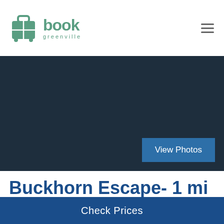[Figure (logo): Book Greenville logo with suitcase icon and text 'book' in bold teal and 'greenville' in smaller teal letters below]
[Figure (photo): Dark navy/charcoal hero image placeholder background with a 'View Photos' button in the lower right]
Buckhorn Escape- 1 mi to State Park, 15min to
Check Prices